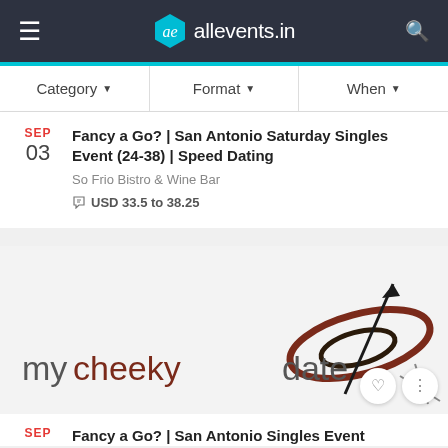allevents.in navigation bar with hamburger menu, logo, and search icon
[Figure (screenshot): Filter bar with Category, Format, When dropdown options]
SEP 03 — Fancy a Go? | San Antonio Saturday Singles Event (24-38) | Speed Dating — So Frio Bistro & Wine Bar — USD 33.5 to 38.25
[Figure (logo): myCheekyDate logo with stylized orbit/arrow graphic on grey background]
SEP — Fancy a Go? | San Antonio Singles Event